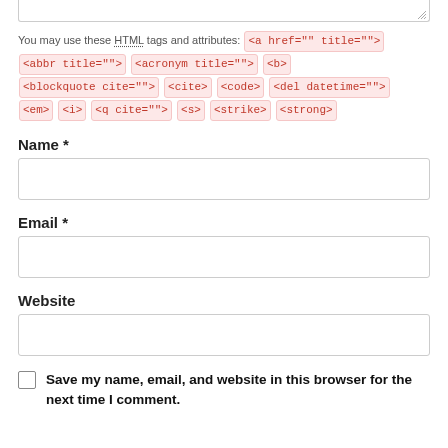You may use these HTML tags and attributes: <a href="" title=""> <abbr title=""> <acronym title=""> <b> <blockquote cite=""> <cite> <code> <del datetime=""> <em> <i> <q cite=""> <s> <strike> <strong>
Name *
[Figure (other): Text input field for Name]
Email *
[Figure (other): Text input field for Email]
Website
[Figure (other): Text input field for Website]
Save my name, email, and website in this browser for the next time I comment.